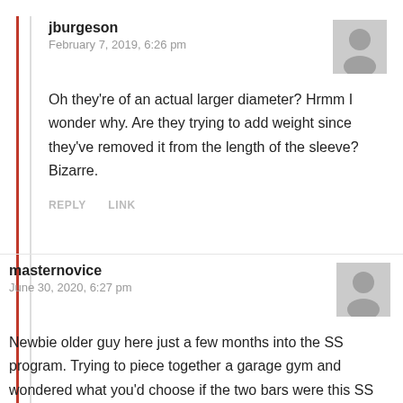jburgeson
February 7, 2019, 6:26 pm
Oh they're of an actual larger diameter? Hrmm I wonder why. Are they trying to add weight since they've removed it from the length of the sleeve? Bizarre.
REPLY   LINK
masternovice
June 30, 2020, 6:27 pm
Newbie older guy here just a few months into the SS program. Trying to piece together a garage gym and wondered what you'd choose if the two bars were this SS bar and the AB SS Elite. You've reviewed them both very positively, so much so that I'm at a standstill. They seem very similar. If it helps, the bar will be used in an unattached, unfinished, Idaho garage. Thanks for your time and